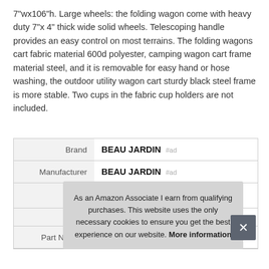7"wx106"h. Large wheels: the folding wagon come with heavy duty 7"x 4" thick wide solid wheels. Telescoping handle provides an easy control on most terrains. The folding wagons cart fabric material 600d polyester, camping wagon cart frame material steel, and it is removable for easy hand or hose washing, the outdoor utility wagon cart sturdy black steel frame is more stable. Two cups in the fabric cup holders are not included.
|  |  |
| --- | --- |
| Brand | BEAU JARDIN #ad |
| Manufacturer | BEAU JARDIN #ad |
| Part Number | WG123 |
As an Amazon Associate I earn from qualifying purchases. This website uses the only necessary cookies to ensure you get the best experience on our website. More information